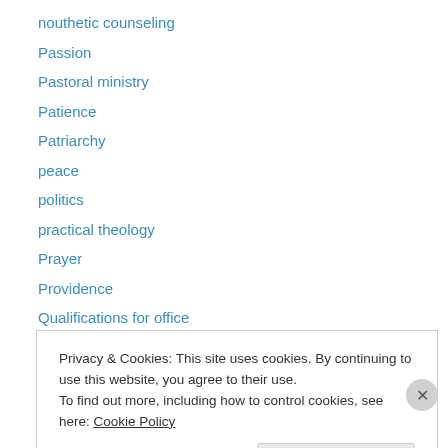nouthetic counseling
Passion
Pastoral ministry
Patience
Patriarchy
peace
politics
practical theology
Prayer
Providence
Qualifications for office
Race
Random thoughts
Privacy & Cookies: This site uses cookies. By continuing to use this website, you agree to their use.
To find out more, including how to control cookies, see here: Cookie Policy
Close and accept